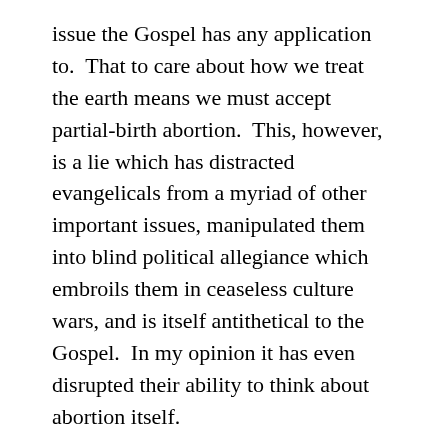issue the Gospel has any application to.  That to care about how we treat the earth means we must accept partial-birth abortion.  This, however, is a lie which has distracted evangelicals from a myriad of other important issues, manipulated them into blind political allegiance which embroils them in ceaseless culture wars, and is itself antithetical to the Gospel.  In my opinion it has even disrupted their ability to think about abortion itself.
The truth is, the Gospel speaks into every part of our lives because it seeks to restore God’s whole created order, and believing this only deepens our understanding of the work of Jesus in this world, of peace and the value of life, and